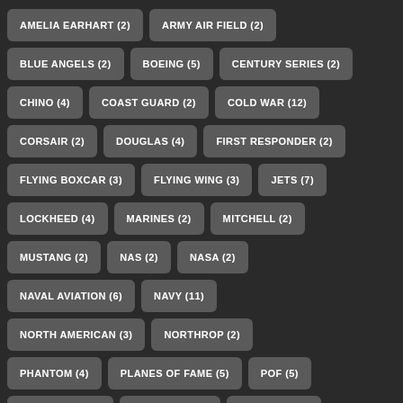AMELIA EARHART (2)
ARMY AIR FIELD (2)
BLUE ANGELS (2)
BOEING (5)
CENTURY SERIES (2)
CHINO (4)
COAST GUARD (2)
COLD WAR (12)
CORSAIR (2)
DOUGLAS (4)
FIRST RESPONDER (2)
FLYING BOXCAR (3)
FLYING WING (3)
JETS (7)
LOCKHEED (4)
MARINES (2)
MITCHELL (2)
MUSTANG (2)
NAS (2)
NASA (2)
NAVAL AVIATION (6)
NAVY (11)
NORTH AMERICAN (3)
NORTHROP (2)
PHANTOM (4)
PLANES OF FAME (5)
POF (5)
PROTOTYPE (4)
SAN DIEGO (3)
SKYHAWK (2)